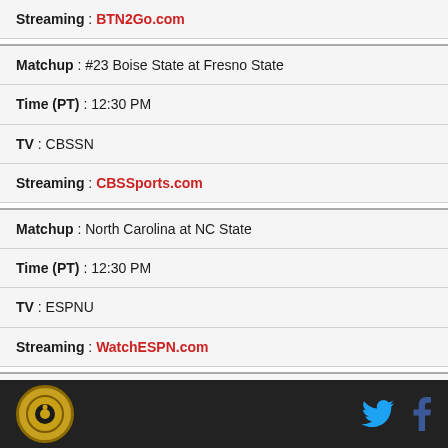| Streaming : BTN2Go.com |
| Matchup : #23 Boise State at Fresno State |
| Time (PT) : 12:30 PM |
| TV : CBSSN |
| Streaming : CBSSports.com |
| Matchup : North Carolina at NC State |
| Time (PT) : 12:30 PM |
| TV : ESPNU |
| Streaming : WatchESPN.com |
| Matchup : Iowa State at Kansas State |
| Time (PT) : 12:30 PM |